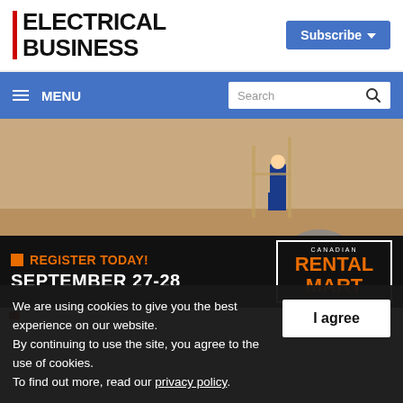ELECTRICAL BUSINESS
Subscribe
MENU
Search
[Figure (photo): Construction site photo showing cables and electrical wire spools on floor with workers in background, with advertisement overlay: REGISTER TODAY! SEPTEMBER 27-28, Canadian Rental Mart]
We are using cookies to give you the best experience on our website. By continuing to use the site, you agree to the use of cookies. To find out more, read our privacy policy.